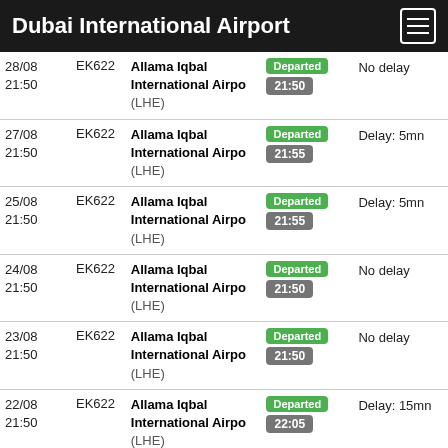Dubai International Airport
| Date/Time | Flight | Destination | Status | Delay |
| --- | --- | --- | --- | --- |
| 28/08 21:50 | EK622 | Allama Iqbal International Airpo (LHE) | Departed 21:50 | No delay |
| 27/08 21:50 | EK622 | Allama Iqbal International Airpo (LHE) | Departed 21:55 | Delay: 5mn |
| 25/08 21:50 | EK622 | Allama Iqbal International Airpo (LHE) | Departed 21:55 | Delay: 5mn |
| 24/08 21:50 | EK622 | Allama Iqbal International Airpo (LHE) | Departed 21:50 | No delay |
| 23/08 21:50 | EK622 | Allama Iqbal International Airpo (LHE) | Departed 21:50 | No delay |
| 22/08 21:50 | EK622 | Allama Iqbal International Airpo (LHE) | Departed 22:05 | Delay: 15mn |
| 21/08 21:50 | EK622 | Allama Iqbal International | Departed 21:55 | Delay: 5mn |